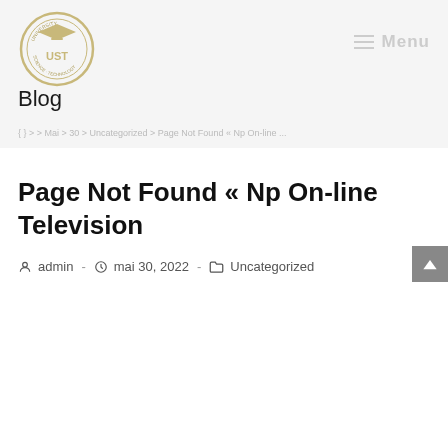[Figure (logo): UST University logo — circular emblem with graduation cap and text 'UNIVERSITY UST SCIENCE TECHNOLOGY']
≡ Menu
Blog
{ } > > Mai > 30 > Uncategorized > Page Not Found « Np On-line ...
Page Not Found « Np On-line Television
admin  -  mai 30, 2022  -  Uncategorized